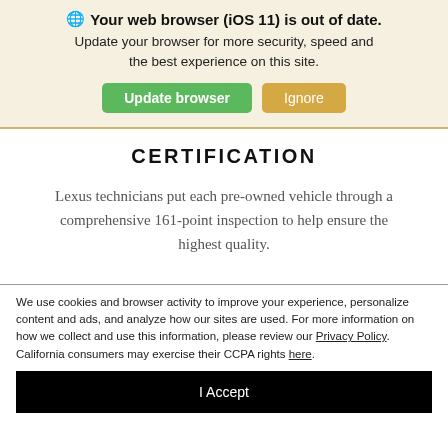🌐 Your web browser (iOS 11) is out of date. Update your browser for more security, speed and the best experience on this site.
Update browser | Ignore
CERTIFICATION
Lexus technicians put each pre-owned vehicle through a comprehensive 161-point inspection to help ensure the highest quality.
We use cookies and browser activity to improve your experience, personalize content and ads, and analyze how our sites are used. For more information on how we collect and use this information, please review our Privacy Policy. California consumers may exercise their CCPA rights here.
I Accept